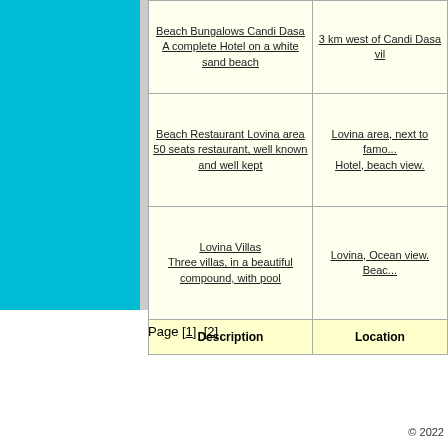| Description | Location |
| --- | --- |
| Beach Bungalows Candi Dasa
A complete Hotel on a white sand beach | 3 km west of Candi Dasa vi... |
| Beach Restaurant Lovina area
50 seats restaurant, well known and well kept | Lovina area, next to famo...
Hotel, beach view. |
| Lovina Villas
Three villas, in a beautiful compound, with pool | Lovina, Ocean view. Beac... |
| Description | Location |
Page [1]  [2]
© 2022